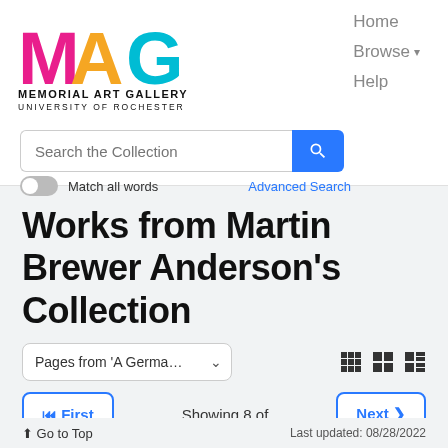[Figure (logo): Memorial Art Gallery University of Rochester logo with colorful MAG letters]
Home  Browse  Help
Search the Collection
Match all words  Advanced Search
Works from Martin Brewer Anderson's Collection
Pages from 'A Germa…
First  Showing 8 of  Next
Go to Top   Last updated: 08/28/2022